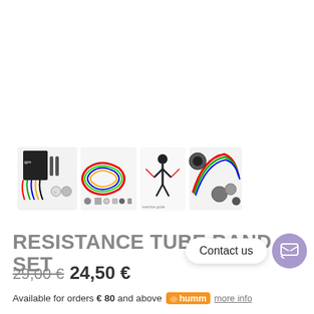[Figure (photo): Product images of resistance tube band set showing bands, accessories and exercise illustrations]
RESISTANCE TUBE BAND SET
29,00 € 24,50 €
Contact us
Available for orders € 80 and above humm more info